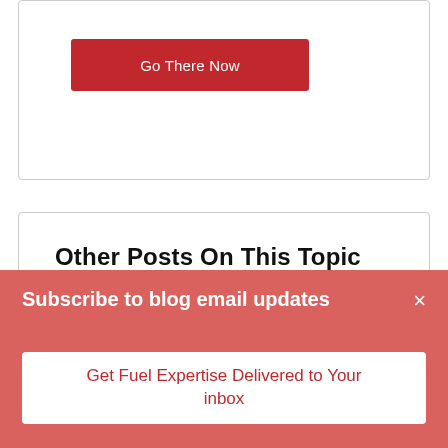Go There Now
Other Posts On This Topic
Boat fuel additives: watch out
Getting Ready for Boating Season
Subscribe to blog email updates
Get Fuel Expertise Delivered to Your inbox